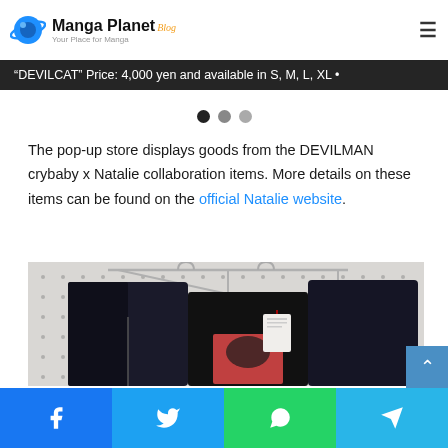Manga Planet Blog — Your Place for Manga
“DEVILCAT” Price: 4,000 yen and available in S, M, L, XL
The pop-up store displays goods from the DEVILMAN crybaby x Natalie collaboration items. More details on these items can be found on the official Natalie website.
[Figure (photo): Black jacket/hoodie merchandise hanging on metal hangers against a pegboard wall with visible price tag]
Facebook | Twitter | WhatsApp | Telegram